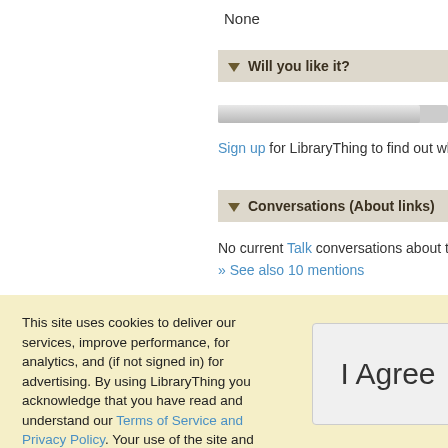None
▼ Will you like it?
Sign up for LibraryThing to find out whether
▼ Conversations (About links)
No current Talk conversations about this bo
» See also 10 mentions
This site uses cookies to deliver our services, improve performance, for analytics, and (if not signed in) for advertising. By using LibraryThing you acknowledge that you have read and understand our Terms of Service and Privacy Policy. Your use of the site and services is subject to these policies and terms.
I Agree